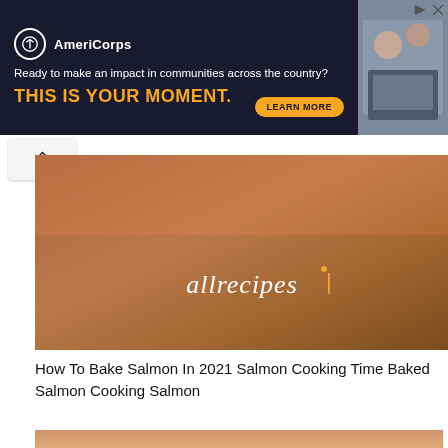[Figure (photo): AmeriCorps advertisement banner with dark navy background, logo, tagline 'Ready to make an impact in communities across the country?', headline 'THIS IS YOUR MOMENT.', learn more button, and side photo of people]
[Figure (photo): Allrecipes website hero image showing salmon with allrecipes logo overlay]
How To Bake Salmon In 2021 Salmon Cooking Time Baked Salmon Cooking Salmon
[Figure (infographic): Infographic showing a cross-section of salmon fillet with temperature labels: 200°F +: Crisp Skin, 140°F: lightly flakey, 125°F: tender layers, 110°F: soft and rare]